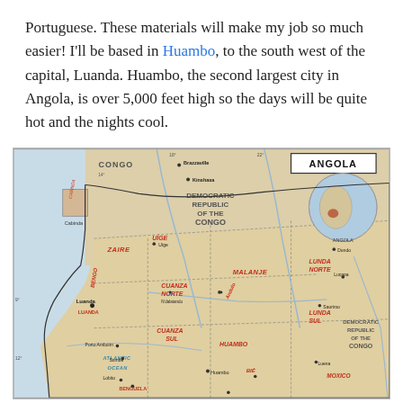Portuguese. These materials will make my job so much easier! I'll be based in Huambo, to the south west of the capital, Luanda. Huambo, the second largest city in Angola, is over 5,000 feet high so the days will be quite hot and the nights cool.
[Figure (map): Political map of Angola showing provinces, neighboring countries (Congo, Democratic Republic of the Congo), cities including Luanda, Huambo, Kinshasa, Brazzaville, and geographic features. Inset globe shows Angola's location in Africa. Atlantic Ocean labeled to the west.]